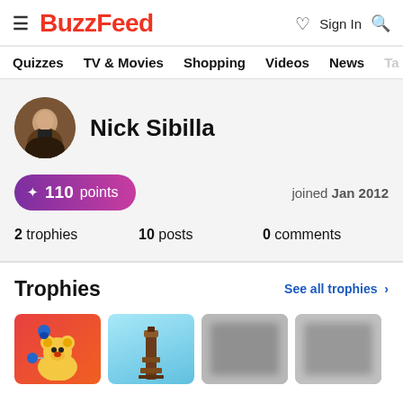BuzzFeed — Quizzes  TV & Movies  Shopping  Videos  News  Ta...
Nick Sibilla
✦ 110 points  joined Jan 2012
2 trophies   10 posts   0 comments
Trophies
See all trophies >
[Figure (screenshot): Four trophy card thumbnails at bottom of page]